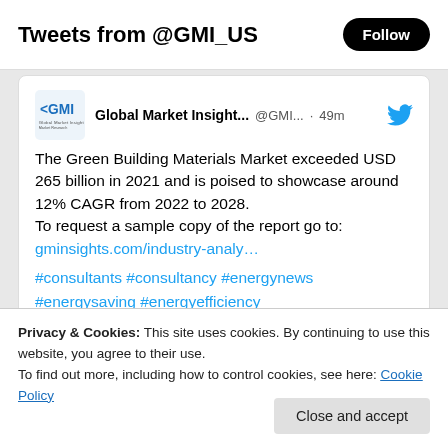Tweets from @GMI_US
Global Market Insight... @GMI... · 49m
The Green Building Materials Market exceeded USD 265 billion in 2021 and is poised to showcase around 12% CAGR from 2022 to 2028.
To request a sample copy of the report go to:
gminsights.com/industry-analy…
#consultants #consultancy #energynews
#energysaving #energyefficiency
Privacy & Cookies: This site uses cookies. By continuing to use this website, you agree to their use.
To find out more, including how to control cookies, see here: Cookie Policy